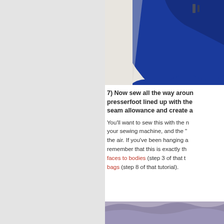[Figure (photo): Blue fabric garment being held up, showing the top portion of a sewn item with what appears to be metal hardware visible]
7) Now sew all the way aroun presserfoot lined up with the seam allowance and create a
You'll want to sew this with the needle of your sewing machine, and the "" the air. If you've been hanging a remember that this is exactly th faces to bodies (step 3 of that t bags (step 8 of that tutorial).
[Figure (photo): Purple/blue fuzzy fabric visible at the bottom of the page]